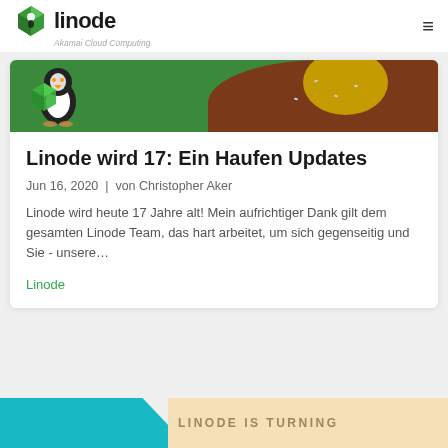linode — Akamai Cloud Computing
[Figure (illustration): Linode blog post banner showing green background with cartoon Tux penguin mascot on left, and dark brown/chocolate themed decorative element on right with yellow circle]
Linode wird 17: Ein Haufen Updates
Jun 16, 2020  |  von Christopher Aker
Linode wird heute 17 Jahre alt! Mein aufrichtiger Dank gilt dem gesamten Linode Team, das hart arbeitet, um sich gegenseitig und Sie - unsere…
Linode
[Figure (illustration): Bottom preview strip of next card with teal angled shape on left and beige area on right showing 'LINODE IS TURNING' text]